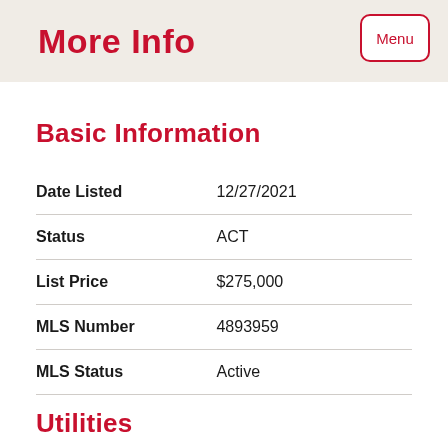More Info
Basic Information
| Field | Value |
| --- | --- |
| Date Listed | 12/27/2021 |
| Status | ACT |
| List Price | $275,000 |
| MLS Number | 4893959 |
| MLS Status | Active |
Utilities